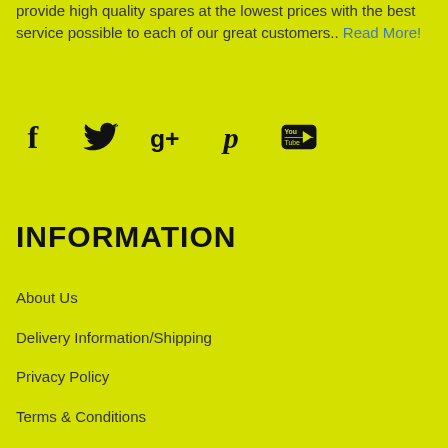provide high quality spares at the lowest prices with the best service possible to each of our great customers.. Read More!
[Figure (infographic): Social media icons: Facebook (f), Twitter (bird), Google+ (g+), Pinterest (p), YouTube (play button)]
INFORMATION
About Us
Delivery Information/Shipping
Privacy Policy
Terms & Conditions
Cash on Delivery policy COD
Contact Us